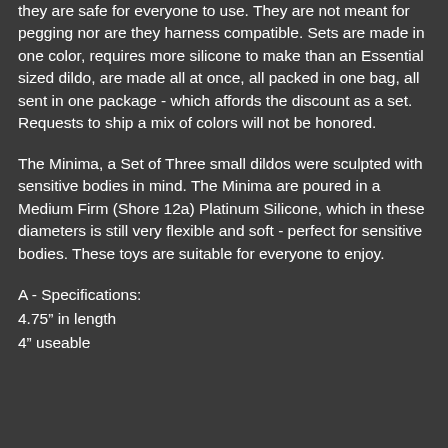they are safe for everyone to use. They are not meant for pegging nor are they harness compatible. Sets are made in one color, requires more silicone to make than an Essential sized dildo, are made all at once, all packed in one bag, all sent in one package - which affords the discount as a set. Requests to ship a mix of colors will not be honored.
The Minima, a Set of Three small dildos were sculpted with sensitive bodies in mind. The Minima are poured in a Medium Firm (Shore 12a) Platinum Silicone, which in these diameters is still very flexible and soft - perfect for sensitive bodies. These toys are suitable for everyone to enjoy.
A - Specifications:
4.75" in length
4" useable